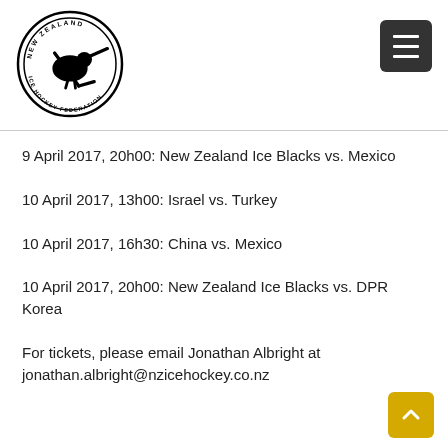[Figure (logo): New Zealand Ice Hockey Federation circular logo with kiwi bird and hockey stick silhouette]
9 April 2017, 20h00: New Zealand Ice Blacks vs. Mexico
10 April 2017, 13h00: Israel vs. Turkey
10 April 2017, 16h30: China vs. Mexico
10 April 2017, 20h00: New Zealand Ice Blacks vs. DPR Korea
For tickets, please email Jonathan Albright at jonathan.albright@nzicehockey.co.nz